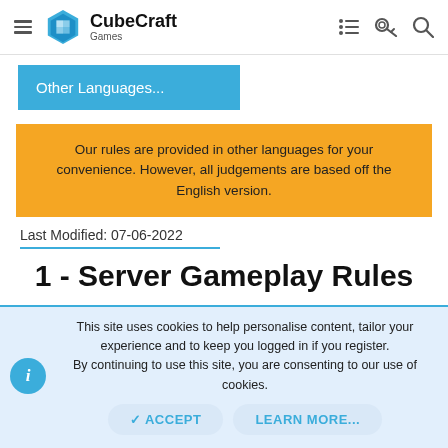CubeCraft Games
Other Languages...
Our rules are provided in other languages for your convenience. However, all judgements are based off the English version.
Last Modified: 07-06-2022
1 - Server Gameplay Rules
This site uses cookies to help personalise content, tailor your experience and to keep you logged in if you register. By continuing to use this site, you are consenting to our use of cookies.